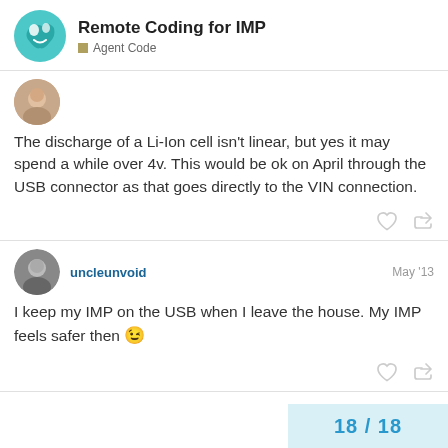Remote Coding for IMP — Agent Code
The discharge of a Li-Ion cell isn't linear, but yes it may spend a while over 4v. This would be ok on April through the USB connector as that goes directly to the VIN connection.
uncleunvoid — May '13
I keep my IMP on the USB when I leave the house. My IMP feels safer then 😉
18 / 18